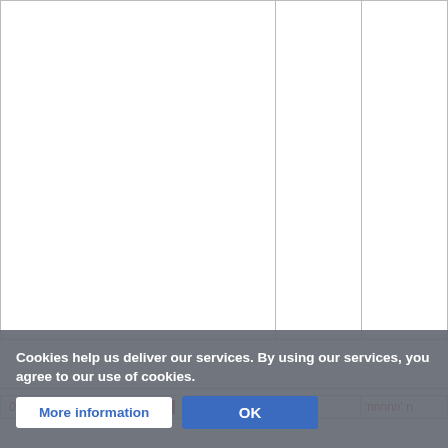|  |  |  |
Cookies help us deliver our services. By using our services, you agree to our use of cookies.
More information | OK
01 – [redacted text] 'nnnnn' n